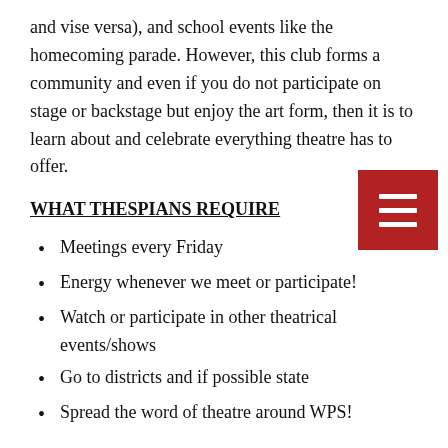and vise versa), and school events like the homecoming parade. However, this club forms a community and even if you do not participate on stage or backstage but enjoy the art form, then it is to learn about and celebrate everything theatre has to offer.
[Figure (other): Red hamburger menu button with three white horizontal bars]
WHAT THESPIANS REQUIRE
Meetings every Friday
Energy whenever we meet or participate!
Watch or participate in other theatrical events/shows
Go to districts and if possible state
Spread the word of theatre around WPS!
OFFICER LIFE
The Officers are very involved in running thespians - our sponsor helps us, however organization of events is all us. We